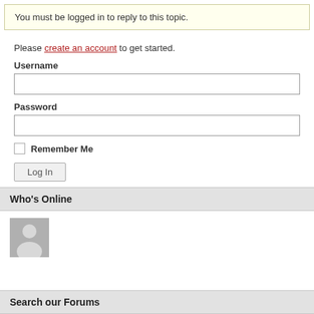You must be logged in to reply to this topic.
Please create an account to get started.
Username
Password
Remember Me
Log In
Who's Online
[Figure (illustration): Generic user avatar placeholder - grey silhouette of a person on grey background]
Search our Forums